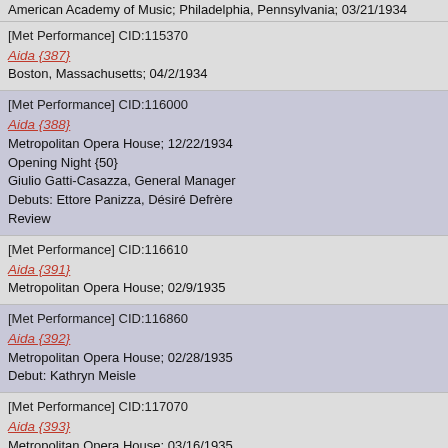American Academy of Music; Philadelphia, Pennsylvania; 03/21/1934
[Met Performance] CID:115370
Aida {387}
Boston, Massachusetts; 04/2/1934
[Met Performance] CID:116000
Aida {388}
Metropolitan Opera House; 12/22/1934
Opening Night {50}
Giulio Gatti-Casazza, General Manager
Debuts: Ettore Panizza, Désiré Defrère
Review
[Met Performance] CID:116610
Aida {391}
Metropolitan Opera House; 02/9/1935
[Met Performance] CID:116860
Aida {392}
Metropolitan Opera House; 02/28/1935
Debut: Kathryn Meisle
[Met Performance] CID:117070
Aida {393}
Metropolitan Opera House; 03/16/1935
Broadcast
[Met Performance] CID:117380
Aida {394}
Baltimore, Maryland; 04/9/1935
[Met Performance] CID:118050
Aida {395}
Metropolitan Opera House; 12/20/1935
Debuts: Gertrud Wettergren, Chase Baromeo, Daphne Vane